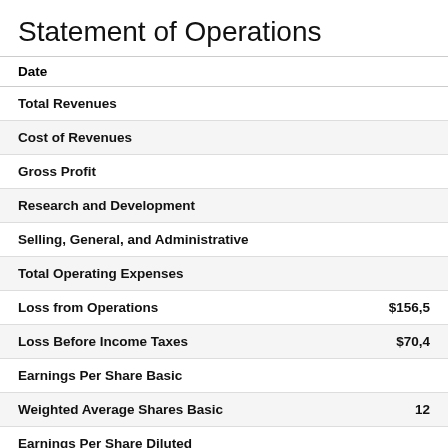Statement of Operations
| Date |  |
| --- | --- |
| Total Revenues |  |
| Cost of Revenues |  |
| Gross Profit |  |
| Research and Development |  |
| Selling, General, and Administrative |  |
| Total Operating Expenses |  |
| Loss from Operations | $156,5 |
| Loss Before Income Taxes | $70,4 |
| Earnings Per Share Basic |  |
| Weighted Average Shares Basic | 12 |
| Earnings Per Share Diluted |  |